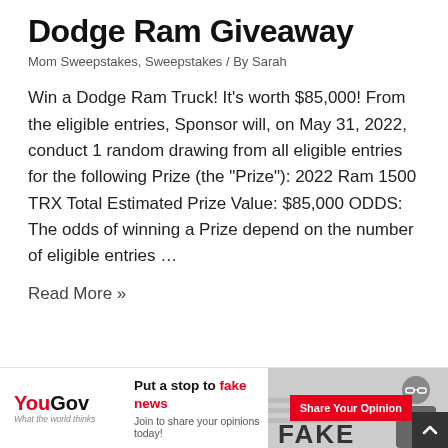Dodge Ram Giveaway
Mom Sweepstakes, Sweepstakes / By Sarah
Win a Dodge Ram Truck! It’s worth $85,000! From the eligible entries, Sponsor will, on May 31, 2022, conduct 1 random drawing from all eligible entries for the following Prize (the “Prize”): 2022 Ram 1500 TRX Total Estimated Prize Value: $85,000 ODDS: The odds of winning a Prize depend on the number of eligible entries …
Read More »
[Figure (infographic): YouGov advertisement banner: 'Put a stop to fake news. Join to share your opinions today!' with a photo of a person and a red 'Share Your Opinion' button]